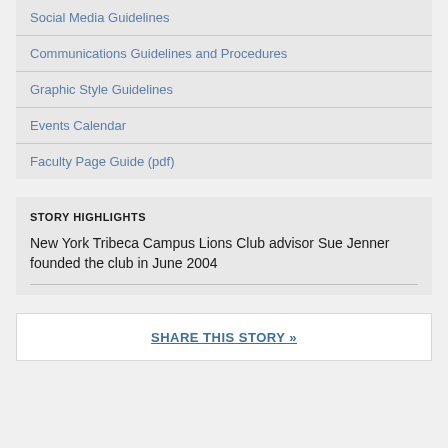Social Media Guidelines
Communications Guidelines and Procedures
Graphic Style Guidelines
Events Calendar
Faculty Page Guide (pdf)
STORY HIGHLIGHTS
New York Tribeca Campus Lions Club advisor Sue Jenner founded the club in June 2004
SHARE THIS STORY »